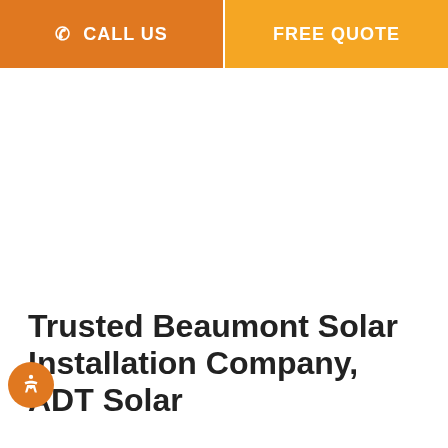CALL US   FREE QUOTE
Trusted Beaumont Solar Installation Company, ADT Solar
ADT Solar has been installing solar panels in the southeastern U.S. for over 10 years. From the very beginning, our goal has been to ensure that our customers experience nothing less than the absolute best. We've gained a reputation for being trustworthy, reliable, and honest, and we work hard each and every